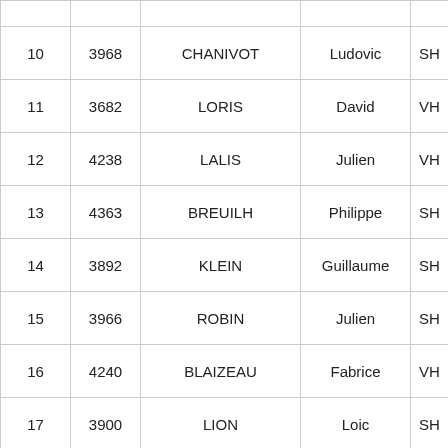| # | Dossier | Nom | Prénom | Cat. |
| --- | --- | --- | --- | --- |
| 10 | 3968 | CHANIVOT | Ludovic | SH |
| 11 | 3682 | LORIS | David | VH |
| 12 | 4238 | LALIS | Julien | VH |
| 13 | 4363 | BREUILH | Philippe | SH |
| 14 | 3892 | KLEIN | Guillaume | SH |
| 15 | 3966 | ROBIN | Julien | SH |
| 16 | 4240 | BLAIZEAU | Fabrice | VH |
| 17 | 3900 | LION | Loic | SH |
| 18 | 3907 | BOBET | Marie | SE |